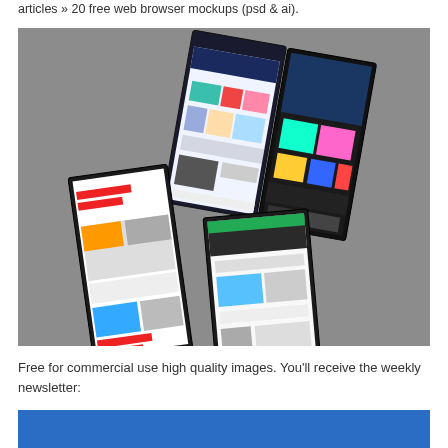articles » 20 free web browser mockups (psd & ai).
[Figure (photo): Four angled website mockup screens displayed on a gray background, showing various web design layouts in perspective view.]
Free for commercial use high quality images. You'll receive the weekly newsletter:
[Figure (other): Blue banner/bar element at the bottom of the page.]